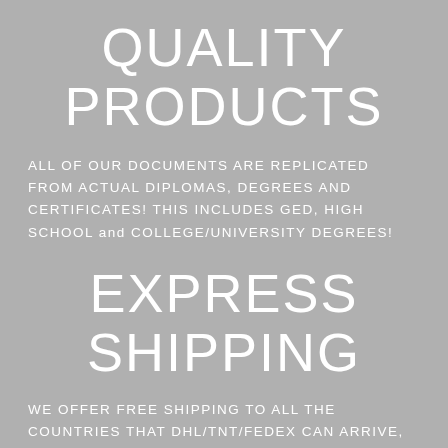QUALITY PRODUCTS
ALL OF OUR DOCUMENTS ARE REPLICATED FROM ACTUAL DIPLOMAS, DEGREES AND CERTIFICATES! THIS INCLUDES GED, HIGH SCHOOL and COLLEGE/UNIVERSITY DEGREES!
EXPRESS SHIPPING
WE OFFER FREE SHIPPING TO ALL THE COUNTRIES THAT DHL/TNT/FEDEX CAN ARRIVE, TRACKING NUMBERS WILL BE AVALAIBLE AFTER PACKAGES WERE PICKED UP